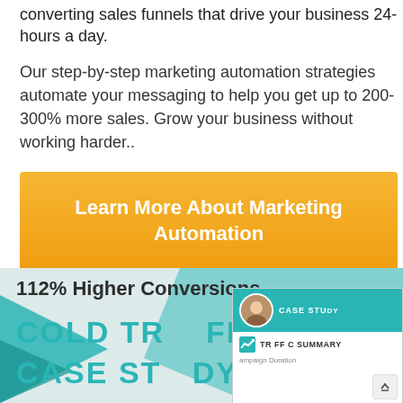converting sales funnels that drive your business 24-hours a day.
Our step-by-step marketing automation strategies automate your messaging to help you get up to 200-300% more sales. Grow your business without working harder..
Learn More About Marketing Automation
112% Higher Conversions.
COLD TRAFFIC CASE STUDY
[Figure (screenshot): Case study card overlay showing CASE STUDY label, person avatar, and TRAFFIC SUMMARY with Campaign Duration text]